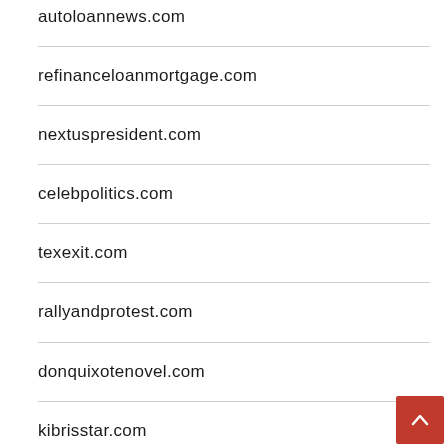autoloannews.com
refinanceloanmortgage.com
nextuspresident.com
celebpolitics.com
texexit.com
rallyandprotest.com
donquixotenovel.com
kibrisstar.com
seafoodgrocer.com